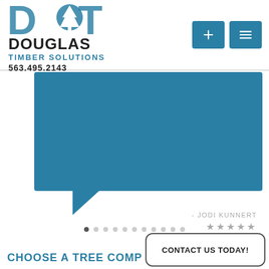[Figure (logo): Douglas Timber Solutions logo with DT letters, pine tree icon, company name, and phone number 563.495.2143]
[Figure (other): Teal speech bubble / testimonial quote box with tail pointing lower left]
- JODI KUNNERT
★★★★★
[Figure (other): Pagination dots row, 11 dots, first dot active/filled]
CHOOSE A TREE COMP
CONTACT US TODAY!